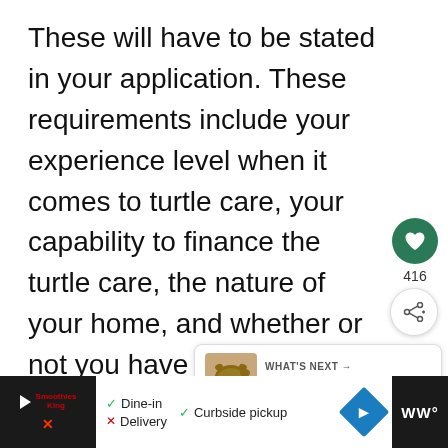These will have to be stated in your application. These requirements include your experience level when it comes to turtle care, your capability to finance the turtle care, the nature of your home, and whether or not you have the space required.
[Figure (screenshot): Social media UI elements: heart/like button (green circle with heart icon), like count 416, share button (white circle with share icon), 'WHAT'S NEXT' panel with turtle image and text 'The Best Pet Turtles For...']
[Figure (screenshot): Advertisement bar at bottom: black sections on left and right, white center section with Smoothies King logo, play button, X button, dine-in checkmark, curbside pickup checkmark, delivery X, blue navigation diamond, WW logo]